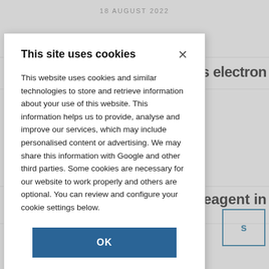18 AUGUST 2022
tches electron
hiral reagent in
This site uses cookies
This website uses cookies and similar technologies to store and retrieve information about your use of this website. This information helps us to provide, analyse and improve our services, which may include personalised content or advertising. We may share this information with Google and other third parties. Some cookies are necessary for our website to work properly and others are optional. You can review and configure your cookie settings below.
OK
COOKIE SETTINGS